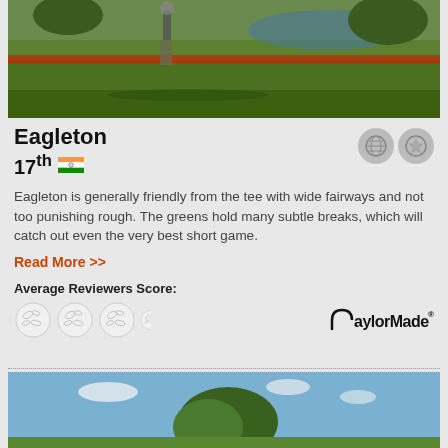[Figure (photo): Golf course photo showing a golfer on a green fairway with red flower borders and a water feature in the background]
Eagleton
17th 🇮🇳
[Figure (other): Two circular icon buttons - globe icon and star icon]
Eagleton is generally friendly from the tee with wide fairways and not too punishing rough. The greens hold many subtle breaks, which will catch out even the very best short game.
Read More >>
Average Reviewers Score:
[Figure (other): Four golf ball rating icons and TaylorMade logo]
[Figure (photo): Golf course photo showing a fairway with trees against a blue sky with clouds]